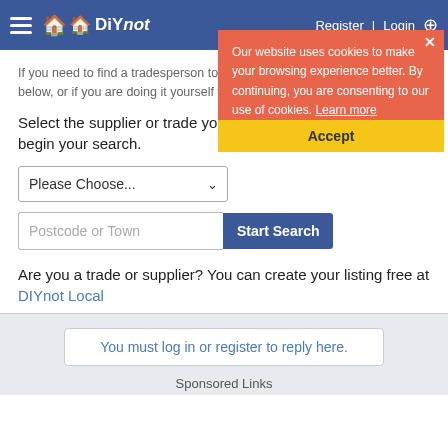DIYnot header navigation bar
Our website uses cookies to make your browsing experience better. By continuing, you are consenting to our use of cookies. Learn more
Accept
If you need to find a tradesperson to help you, please try our local search below, or if you are doing it yourself you can find suppliers local to you.
Select the supplier or trade you require, enter your location to begin your search.
Please Choose...
Postcode or Town
Start Search
Are you a trade or supplier? You can create your listing free at DIYnot Local
You must log in or register to reply here.
Sponsored Links